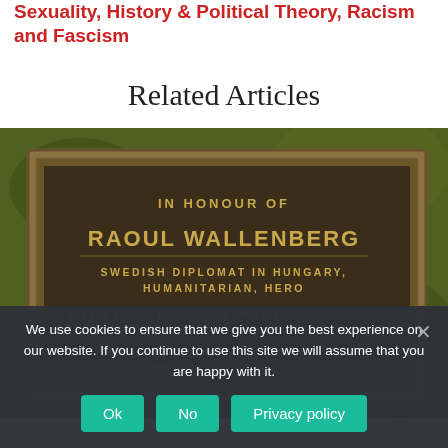Sexuality, History & Political Theory, Racism and Fascism
Related Articles
[Figure (photo): A bronze memorial plaque reading: IN HONOUR OF RAOUL WALLENBERG, SWEDISH DIPLOMAT IN HUNGARY, HUMANITARIAN, HERO. 1944-5 SAVED THOUSANDS OF LIVES THEN LOST HIS OWN FREEDOM. 1985 HE IS STILL BEHIND PRISON BARS IN THE USSР. Set against a mossy green wall background.]
We use cookies to ensure that we give you the best experience on our website. If you continue to use this site we will assume that you are happy with it.
Ok  No  Privacy policy